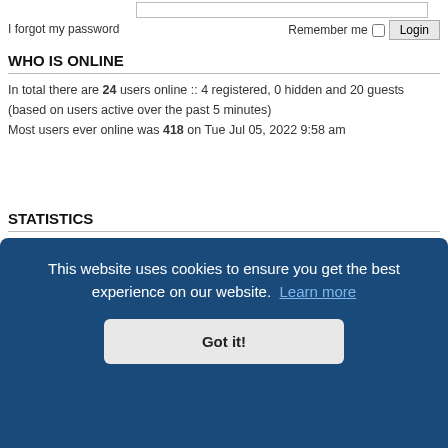I forgot my password
Remember me  Login
WHO IS ONLINE
In total there are 24 users online :: 4 registered, 0 hidden and 20 guests (based on users active over the past 5 minutes)
Most users ever online was 418 on Tue Jul 05, 2022 9:58 am
STATISTICS
Total posts 1075686 • Total topics 38214 • Total members 9233 • Our newest member HappyNewMom
Board index / Contact us / Delete cookies / All times are UTC-04:00
This website uses cookies to ensure you get the best experience on our website. Learn more
Got it!